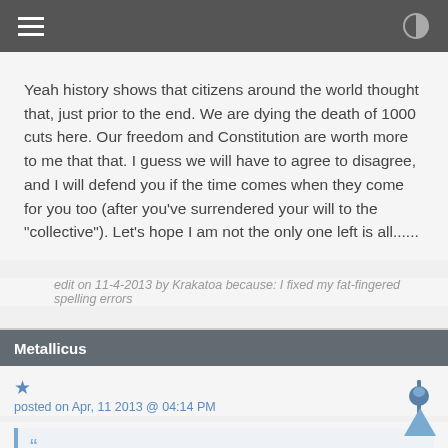[hamburger menu] [contrast icon]
Yeah history shows that citizens around the world thought that, just prior to the end. We are dying the death of 1000 cuts here. Our freedom and Constitution are worth more to me that that. I guess we will have to agree to disagree, and I will defend you if the time comes when they come for you too (after you've surrendered your will to the "collective"). Let's hope I am not the only one left is all......
edit on 11-4-2013 by Krakatoa because: I fixed my fat-fingered spelling errors
Metallicus
posted on Apr, 11 2013 @ 04:14 PM
Originally posted by magma
If it saves one innocent life, it really isn't bad.